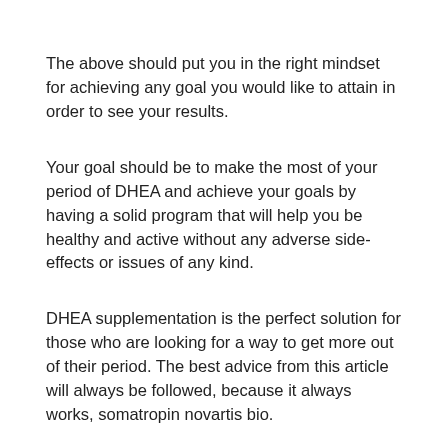The above should put you in the right mindset for achieving any goal you would like to attain in order to see your results.
Your goal should be to make the most of your period of DHEA and achieve your goals by having a solid program that will help you be healthy and active without any adverse side-effects or issues of any kind.
DHEA supplementation is the perfect solution for those who are looking for a way to get more out of their period. The best advice from this article will always be followed, because it always works, somatropin novartis bio.